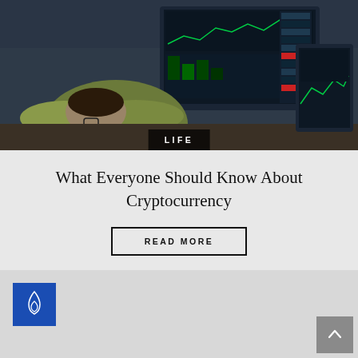[Figure (photo): Person with head down on desk in front of multiple computer monitors showing financial/trading charts and data]
LIFE
What Everyone Should Know About Cryptocurrency
READ MORE
[Figure (logo): Blue square icon with a flame/fire symbol inside]
[Figure (other): Gray scroll-to-top button with upward arrow]